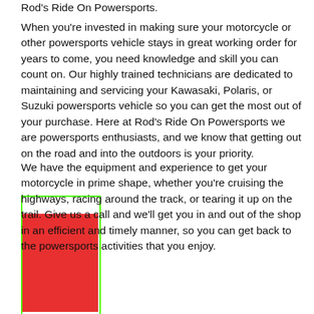Rod's Ride On Powersports.
When you're invested in making sure your motorcycle or other powersports vehicle stays in great working order for years to come, you need knowledge and skill you can count on. Our highly trained technicians are dedicated to maintaining and servicing your Kawasaki, Polaris, or Suzuki powersports vehicle so you can get the most out of your purchase. Here at Rod's Ride On Powersports we are powersports enthusiasts, and we know that getting out on the road and into the outdoors is your priority.
We have the equipment and experience to get your motorcycle in prime shape, whether you're cruising the highways, racing around the track, or tearing it up on the trail. Give us a call and we'll get you in and out of the shop in an efficient and timely manner, so you can get back to the powersports activities that you enjoy.